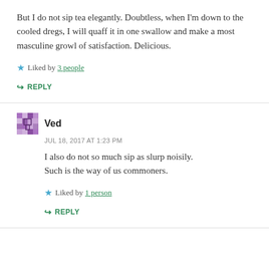But I do not sip tea elegantly. Doubtless, when I'm down to the cooled dregs, I will quaff it in one swallow and make a most masculine growl of satisfaction. Delicious.
★ Liked by 3 people
↳ REPLY
Ved
JUL 18, 2017 AT 1:23 PM
I also do not so much sip as slurp noisily. Such is the way of us commoners.
★ Liked by 1 person
↳ REPLY